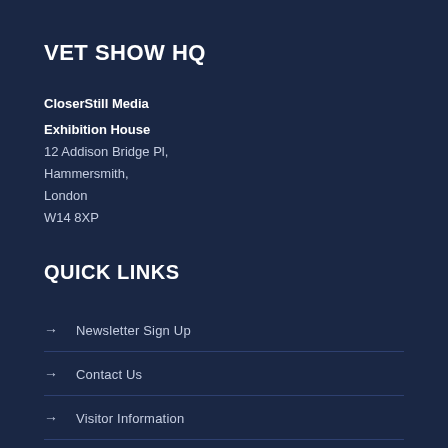VET SHOW HQ
CloserStill Media
Exhibition House
12 Addison Bridge Pl,
Hammersmith,
London
W14 8XP
QUICK LINKS
Newsletter Sign Up
Contact Us
Visitor Information
Exhibitor Information